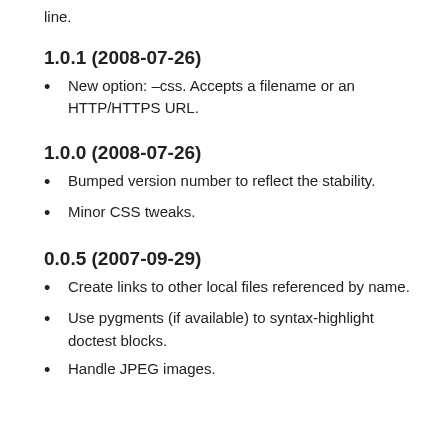line.
1.0.1 (2008-07-26)
New option: –css. Accepts a filename or an HTTP/HTTPS URL.
1.0.0 (2008-07-26)
Bumped version number to reflect the stability.
Minor CSS tweaks.
0.0.5 (2007-09-29)
Create links to other local files referenced by name.
Use pygments (if available) to syntax-highlight doctest blocks.
Handle JPEG images.